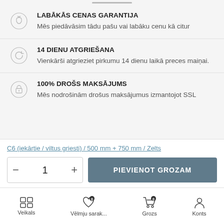LABĀKĀS CENAS GARANTIJA
Mēs piedāvāsim tādu pašu vai labāku cenu kā citur
14 DIENU ATGRIEŠANA
Vienkārši atgrieziet pirkumu 14 dienu laikā preces maiņai.
100% DROŠS MAKSĀJUMS
Mēs nodrošināam drošus maksājumus izmantojot SSL
C6 (iekārtie / viltus griesti) / 500 mm + 750 mm / Zelts
- 1 +    PIEVIENOT GROZAM
Veikals   Vēlmju sarak...   Grozs   Konts